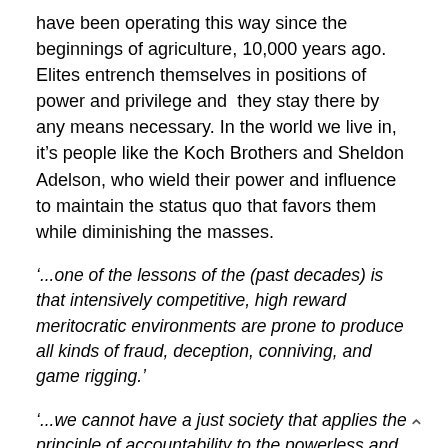have been operating this way since the beginnings of agriculture, 10,000 years ago. Elites entrench themselves in positions of power and privilege and they stay there by any means necessary. In the world we live in, it's people like the Koch Brothers and Sheldon Adelson, who wield their power and influence to maintain the status quo that favors them while diminishing the masses.
'...one of the lessons of the (past decades) is that intensively competitive, high reward meritocratic environments are prone to produce all kinds of fraud, deception, conniving, and game rigging.'
'...we cannot have a just society that applies the principle of accountability to the powerless and the principle of forgiveness to the powerful. This is the America in which we currently reside.'